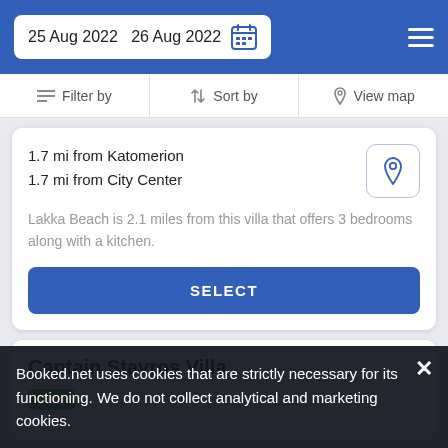25 Aug 2022  26 Aug 2022
Filter by  Sort by  View map
1.7 mi from Katomerion
1.7 mi from City Center
Lakka Beach is 2.1 miles from this villa that offers 3 bedrooms along with a kitchen.
SELECT
Captain Stavros Villa
Villa
Booked.net uses cookies that are strictly necessary for its functioning. We do not collect analytical and marketing cookies.